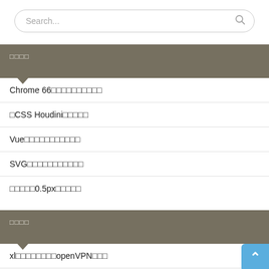Search...
□□□□
Chrome 66□□□□□□□□□□
□CSS Houdini□□□□□
Vue□□□□□□□□□□□
SVG□□□□□□□□□□□
□□□□□0.5px□□□□□
□□□□
xl□□□□□□□□openVPN□□□
yangs□□□□WebSocket□TCP/IP□